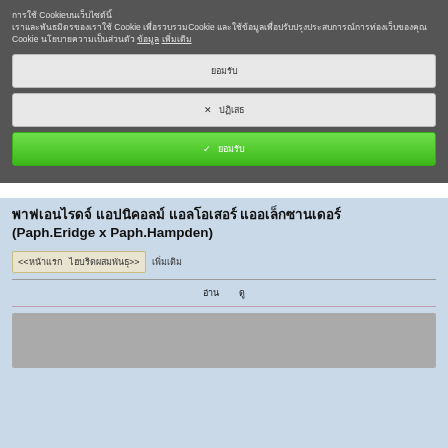การใช้ Cookie บนเว็บไซต์นี้ เราและพันธมิตรของเราใช้ Cookie เพื่อรวบรวมCookie และใช้ข้อมูลเพื่อปรับปรุงประสบการณ์การท่องเว็บของคุณ Cookie นโยบายความเป็นส่วนตัว ข้อมูล เพิ่มเติม
ยอมรับ
✕ ปฏิเสธ
✓ ยอมรับ
(Paph.Eridge x Paph.Hampden)
<<หน้าแรก   ไฮบริดผสมพันธุ์>>   เพิ่มเติม
อ่าน  ดู